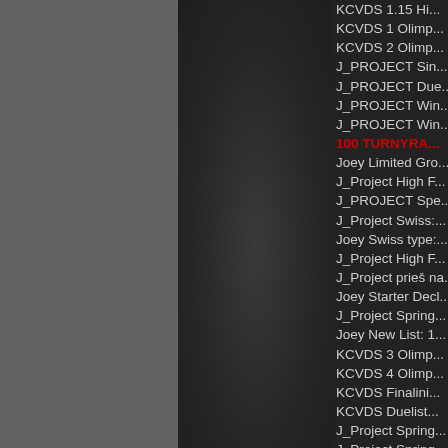[Figure (other): Dark UI panel with gray left section, dark center section with circuit-board pattern, and dark right section containing a list of Yu-Gi-Oh tournament/project items]
KCVDS 1.15 Hi...
KCVDS 1 Olimp...
KCVDS 2 Olimp...
J_PROJECT Sin...
J_PROJECT Due...
J_PROJECT Win...
J_PROJECT Win...
100 TURNYRA...
Joey Limited Gro...
J_Project High F...
J_PROJECT Spe...
J_Project Swiss:...
Joey Swiss type:...
J_Project High F...
J_Project prieš na...
Joey Starter Decl...
J_Project Spring...
Joey New List: 1...
KCVDS 3 Olimp...
KCVDS 4 Olimp...
KCVDS Finalini...
KCVDS Duelist...
J_Project Spring...
J_Project Spring...
Joey No-Spell G...
Joey Mirror...